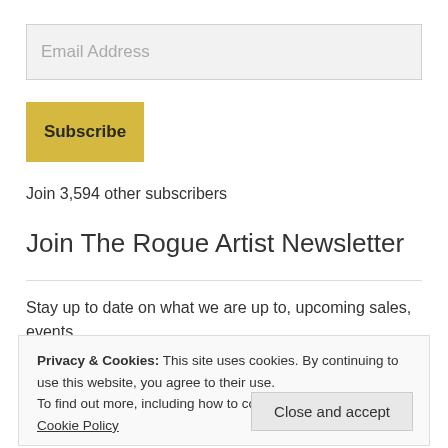Email Address
Subscribe
Join 3,594 other subscribers
Join The Rogue Artist Newsletter
Stay up to date on what we are up to, upcoming sales, events,
Privacy & Cookies: This site uses cookies. By continuing to use this website, you agree to their use. To find out more, including how to control cookies, see here: Cookie Policy
Close and accept